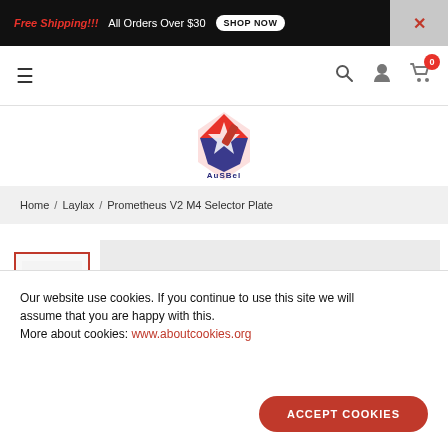Free Shipping!!! All Orders Over $30 SHOP NOW
[Figure (screenshot): Navigation bar with hamburger menu icon, search icon, user icon, and cart icon with badge showing 0]
[Figure (logo): AuSBel brand logo - star/lightning bolt shape in red with text]
Home / Laylax / Prometheus V2 M4 Selector Plate
[Figure (photo): Product thumbnail image of Prometheus V2 M4 Selector Plate, with a second thumbnail below. Large grey product image area to the right.]
Our website use cookies. If you continue to use this site we will assume that you are happy with this.
More about cookies: www.aboutcookies.org